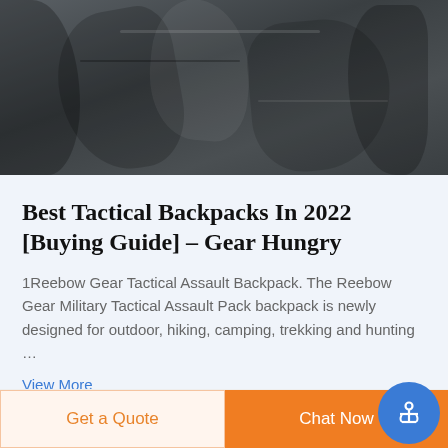[Figure (photo): Close-up photo of dark gray/black tactical backpack with multiple fabric folds, pockets and zippers visible]
Best Tactical Backpacks In 2022 [Buying Guide] – Gear Hungry
1Reebow Gear Tactical Assault Backpack. The Reebow Gear Military Tactical Assault Pack backpack is newly designed for outdoor, hiking, camping, trekking and hunting …
View More
Get a Quote
Chat Now